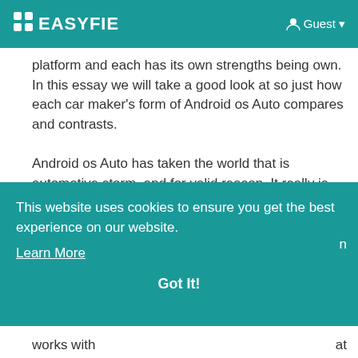EASYFIE  Guest
platform and each has its own strengths being own. In this essay we will take a good look at so just how each car maker's form of Android os Auto compares and contrasts.

Android os Auto has taken the world that is automotive storm, and for valid reason. It really is the best ways to seamlessly interact with your vehicle from a smartphone. Audi, BMW, and Benz
This website uses cookies to ensure you get the best experience on our website.
Learn More
Got It!
works with